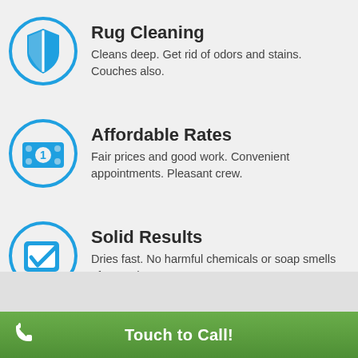Rug Cleaning
Cleans deep. Get rid of odors and stains. Couches also.
Affordable Rates
Fair prices and good work. Convenient appointments. Pleasant crew.
Solid Results
Dries fast. No harmful chemicals or soap smells afterwards.
Touch to Call!